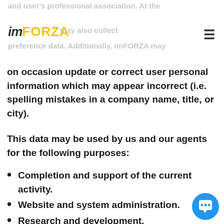and user's professional association. At the imFORZA may also collect preference data. Additionally, imFORZA may
on occasion update or correct user personal information which may appear incorrect (i.e. spelling mistakes in a company name, title, or city).
This data may be used by us and our agents for the following purposes:
Completion and support of the current activity.
Website and system administration.
Research and development.
Anonymous user analysis.
Anonymous user profiling and decision making.